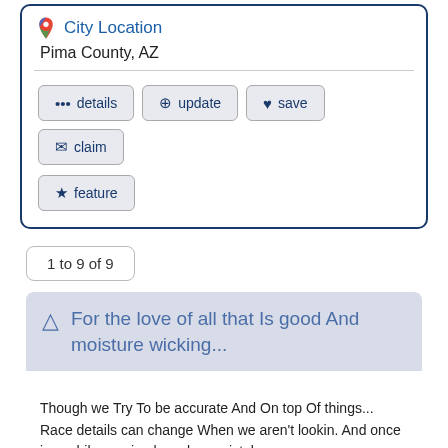[Figure (screenshot): Map pin icon (Google Maps style) in red/green/blue colors]
City Location
Pima County, AZ
••• details
⊕ update
♥ save
✉ claim
★ feature
1 to 9 of 9
⚠ For the love of all that Is good And moisture wicking...
Though we Try To be accurate And On top Of things... Race details can change When we aren't lookin. And once in a while we simply make a mistake.
ALWAYS visit the race's website for the most complete and